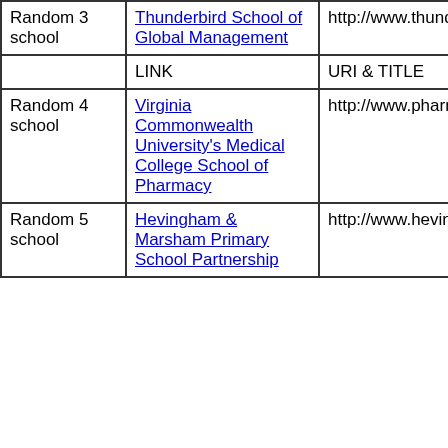|  | LINK | URI & TITLE |
| --- | --- | --- |
| Random 3 school | Thunderbird School of Global Management | http://www.thunderbird.edu/ Thunderbird School of Global Management |
|  | LINK | URI & TITLE |
| Random 4 school | Virginia Commonwealth University's Medical College School of Pharmacy | http://www.pharmacy.vcu.edu/ Virginia Commonwealth University's Medical College School of Pharmacy |
| Random 5 school | Hevingham & Marsham Primary School Partnership | http://www.hevingham.norfolk.sch.uk/ Hevingham & Marsham Primary School Partnership |